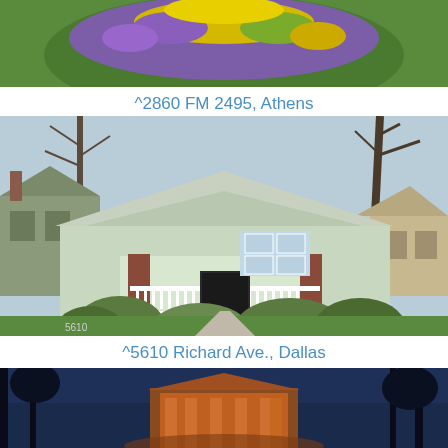[Figure (photo): Aerial or ground-level photo showing a circular flower garden bed with colorful flowers (purple, yellow) set in a green lawn — top portion cropped.]
^2860 FM 2495, Athens
[Figure (photo): Exterior photo of a white craftsman bungalow house with brick porch columns, covered front porch, and surrounding landscaping with bare trees in early spring.]
^5610 Richard Ave., Dallas
[Figure (photo): Nighttime or dusk photo showing a building with warm orange lighting, dark trees silhouetted against a deep blue sky — bottom portion of page.]